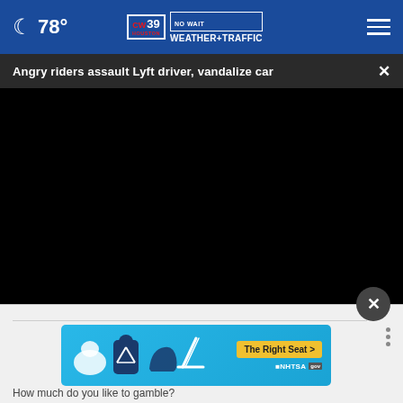🌙 78° | CW39 HOUSTON NO WAIT WEATHER+TRAFFIC
Angry riders assault Lyft driver, vandalize car
[Figure (screenshot): Black video player area]
[Figure (screenshot): Advertisement banner for NHTSA The Right Seat child seat safety campaign with car seat icons on light blue background]
How much do you like to gamble?